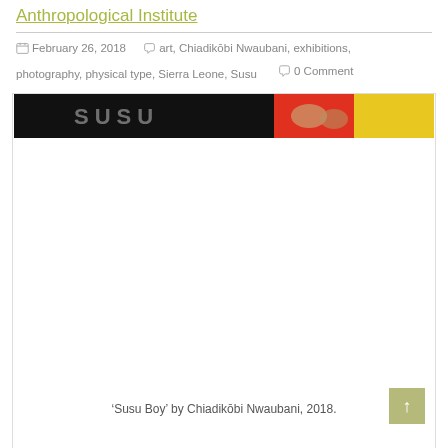Anthropological Institute
February 26, 2018   art, Chiadikōbi Nwaubani, exhibitions, photography, physical type, Sierra Leone, Susu   0 Comment
[Figure (photo): Painting titled 'Susu Boy' by Chiadikōbi Nwaubani, 2018. Top strip shows part of the artwork with black, red, and yellow areas with painted text visible.]
'Susu Boy' by Chiadikōbi Nwaubani, 2018.